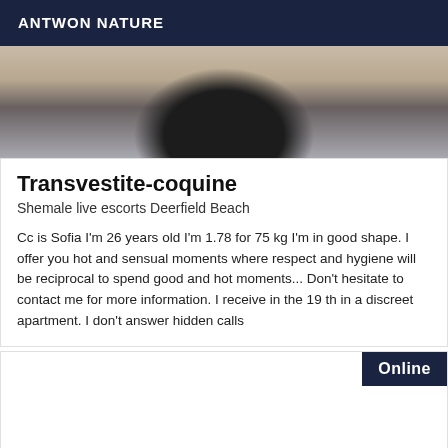ANTWON NATURE
[Figure (photo): Partial body photo showing torso area with dark clothing against light background]
Transvestite-coquine
Shemale live escorts Deerfield Beach
Cc is Sofia I'm 26 years old I'm 1.78 for 75 kg I'm in good shape. I offer you hot and sensual moments where respect and hygiene will be reciprocal to spend good and hot moments... Don't hesitate to contact me for more information. I receive in the 19 th in a discreet apartment. I don't answer hidden calls
Online